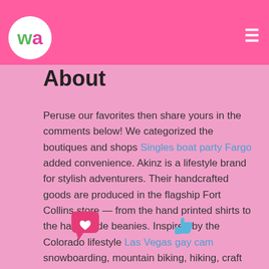wa [logo] [hamburger menu]
About
Peruse our favorites then share yours in the comments below! We categorized the boutiques and shops Singles boat party Fargo added convenience. Akinz is a lifestyle brand for stylish adventurers. Their handcrafted goods are produced in the flagship Fort Collins store — from the hand printed shirts to the handmade beanies. Inspired by the Colorado lifestyle Las Vegas gay cam snowboarding, mountain biking, hiking, craft beer and moretheir goods highlight mountains, wildlife, Colorado pride and local brews.
[Figure (illustration): A pink chat bubble icon with a white heart inside, and a blue thumbs-up icon, displayed side by side at the bottom of the page.]